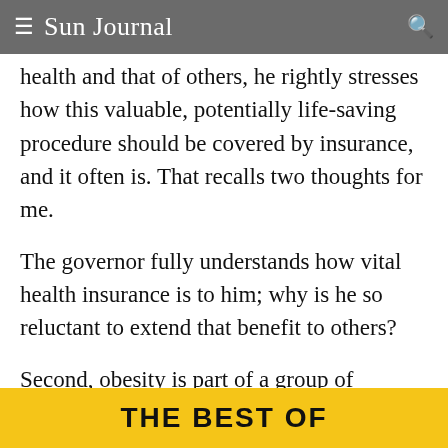≡ Sun Journal 🔍
health and that of others, he rightly stresses how this valuable, potentially life-saving procedure should be covered by insurance, and it often is. That recalls two thoughts for me.
The governor fully understands how vital health insurance is to him; why is he so reluctant to extend that benefit to others?
Second, obesity is part of a group of diseases, like smoking, alcoholism and substance-use disorder, that are often thought of as lifestyle
THE BEST OF